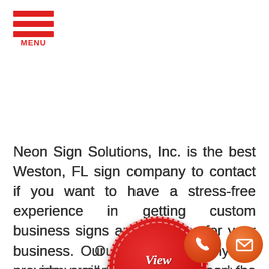MENU
Neon Sign Solutions, Inc. is the best Weston, FL sign company to contact if you want to have a stress-free experience in getting custom business signs and graphics for your business. Our full-service sign company will provide expert advice and select the right signs whenever you need at affordable rates you won't find anywhere else on the market.
[Figure (illustration): Red circular badge/seal with dashed border reading 'View Sign Gallery' and a gold ribbon banner below reading 'CLICK HERE']
We will be with you from the start until your sign request becomes finished, and we will even help you maintain it after we give you the signs and graphics you need for your business. You ca...